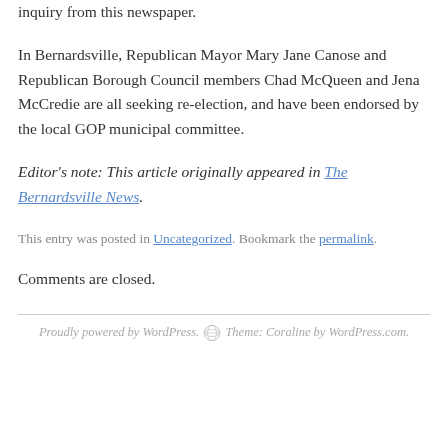inquiry from this newspaper.
In Bernardsville, Republican Mayor Mary Jane Canose and Republican Borough Council members Chad McQueen and Jena McCredie are all seeking re-election, and have been endorsed by the local GOP municipal committee.
Editor's note: This article originally appeared in The Bernardsville News.
This entry was posted in Uncategorized. Bookmark the permalink.
Comments are closed.
Proudly powered by WordPress. Theme: Coraline by WordPress.com.